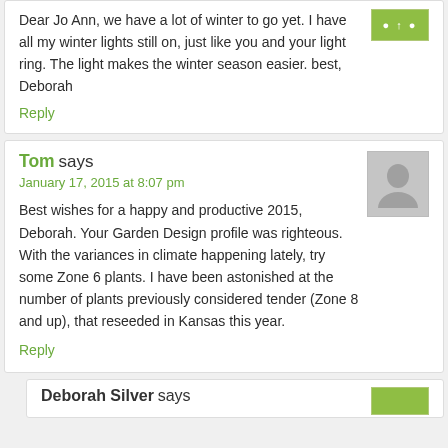Dear Jo Ann, we have a lot of winter to go yet. I have all my winter lights still on, just like you and your light ring. The light makes the winter season easier. best, Deborah
Reply
Tom says
January 17, 2015 at 8:07 pm
Best wishes for a happy and productive 2015, Deborah. Your Garden Design profile was righteous. With the variances in climate happening lately, try some Zone 6 plants. I have been astonished at the number of plants previously considered tender (Zone 8 and up), that reseeded in Kansas this year.
Reply
Deborah Silver says